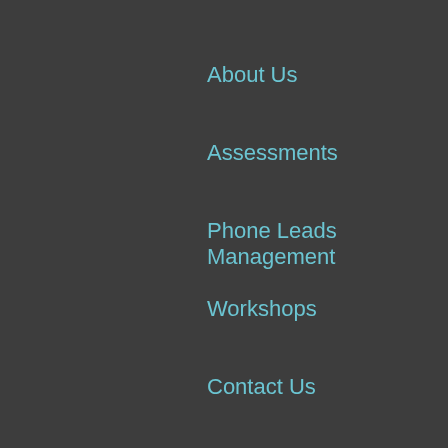About Us
Assessments
Phone Leads Management
Workshops
Contact Us
Client Login
[Figure (infographic): Three social media icon buttons: Facebook (dark blue), LinkedIn (medium blue), Vimeo (light blue/cyan)]